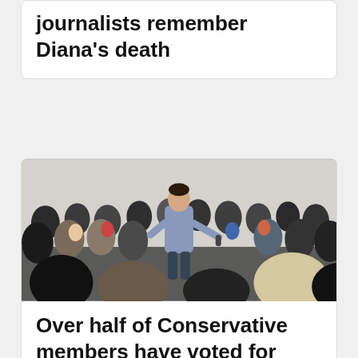journalists remember Diana's death
[Figure (photo): A man in a blue shirt speaking with a microphone to a large seated crowd in an indoor venue]
Over half of Conservative members have voted for new leader one week before